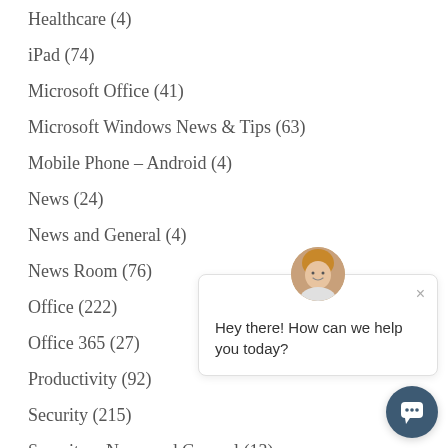Healthcare (4)
iPad (74)
Microsoft Office (41)
Microsoft Windows News & Tips (63)
Mobile Phone – Android (4)
News (24)
News and General (4)
News Room (76)
Office (222)
Office 365 (27)
Productivity (92)
Security (215)
Security – News and General (13)
Social Media (190)
[Figure (screenshot): Chat widget overlay with avatar photo of a woman, close button (×), and text 'Hey there! How can we help you today?' and a dark blue circular chat button with speech bubble icon.]